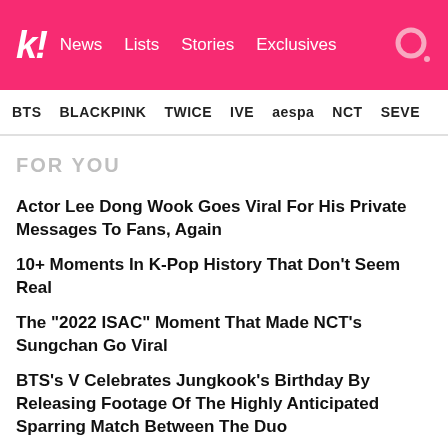k! News Lists Stories Exclusives
BTS BLACKPINK TWICE IVE aespa NCT SEVE
FOR YOU
Actor Lee Dong Wook Goes Viral For His Private Messages To Fans, Again
10+ Moments In K-Pop History That Don't Seem Real
The "2022 ISAC" Moment That Made NCT's Sungchan Go Viral
BTS's V Celebrates Jungkook's Birthday By Releasing Footage Of The Highly Anticipated Sparring Match Between The Duo
Variety Magazine Accuses BLACKPINK Of Lip-Syncing During Their Performance At The 2022 VMAs, And Korean Netizens Are Not Having Any Of It